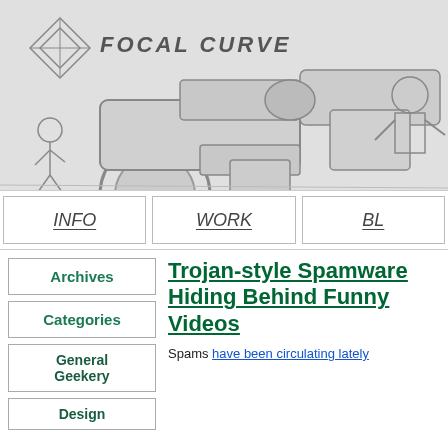[Figure (illustration): Header banner with pencil sketch illustration of futuristic weapons/guns and soldiers, with 'FOCAL CURVE' text logo and geometric diamond shape in upper left]
[Figure (illustration): Navigation bar with three hand-drawn styled tabs: INFO, WORK, BL(OG - partially visible)]
Archives
Categories
General Geekery
Design
Trojan-style Spamware Hiding Behind Funny Videos
Spams have been circulating lately